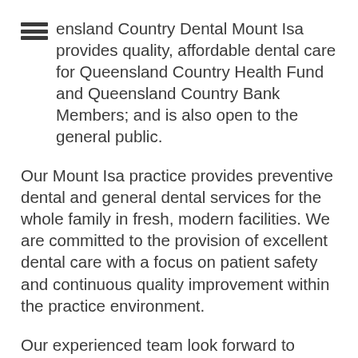Queensland Country Dental Mount Isa provides quality, affordable dental care for Queensland Country Health Fund and Queensland Country Bank Members; and is also open to the general public.
Our Mount Isa practice provides preventive dental and general dental services for the whole family in fresh, modern facilities. We are committed to the provision of excellent dental care with a focus on patient safety and continuous quality improvement within the practice environment.
Our experienced team look forward to welcoming you. Remember you don't need to be a Queensland Country Health Fund Member to visit us.